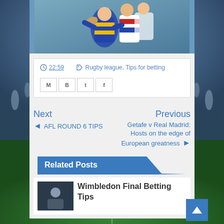[Figure (photo): Rugby league match photo showing players in blue/yellow striped and white/red/blue striped jerseys, one carrying a ball]
22:59   Rugby league, Tips for betting
[Figure (other): Social sharing buttons: Email (M), Blogger (B), Twitter (t), Facebook (f)]
Next
◄ AFL ROUND 6 TIPS
Previous
Getafe v Real Madrid: Hosts on the edge of European greatness ►
Related Posts
[Figure (photo): Thumbnail photo for Wimbledon Final Betting Tips article, showing a figure in dark clothing]
Wimbledon Final Betting Tips